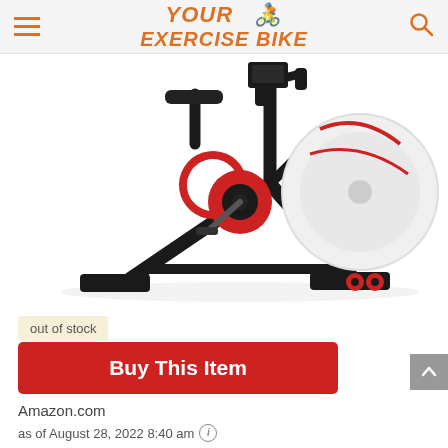YOUR EXERCISE BIKE
[Figure (photo): Exercise/spinning bike product photo showing the lower body of a black exercise bike with red accents, large flywheel, and stabilizer feet on white background]
out of stock
Buy This Item
Amazon.com
as of August 28, 2022 8:40 am